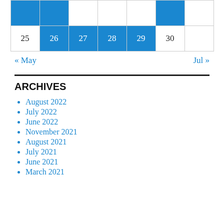|  |  |  |  |  |  |  |
| 25 | 26 | 27 | 28 | 29 | 30 |  |
« May    Jul »
ARCHIVES
August 2022
July 2022
June 2022
November 2021
August 2021
July 2021
June 2021
March 2021